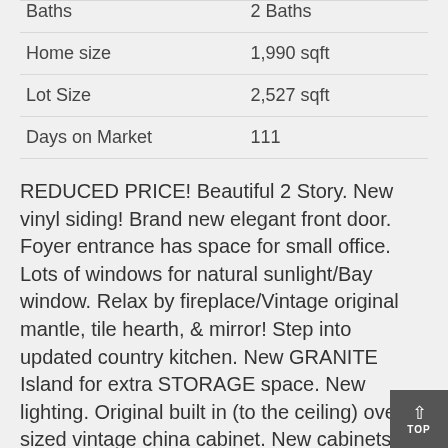|  |  |
| --- | --- |
| Baths | 2 Baths |
| Home size | 1,990 sqft |
| Lot Size | 2,527 sqft |
| Days on Market | 111 |
REDUCED PRICE! Beautiful 2 Story. New vinyl siding! Brand new elegant front door. Foyer entrance has space for small office. Lots of windows for natural sunlight/Bay window. Relax by fireplace/Vintage original mantle, tile hearth, & mirror! Step into updated country kitchen. New GRANITE Island for extra STORAGE space. New lighting. Original built in (to the ceiling) over sized vintage china cabinet. New cabinets, GRANITE counter tops, sink, faucet & glass tile backsplash. Formal dining room. Main floor bath. Old world style winding staircase upstairs to 3 bedrooms & full bath. Enjoy recreation area off 3 bedrooms. All flooring/laminate/carpet is NEW